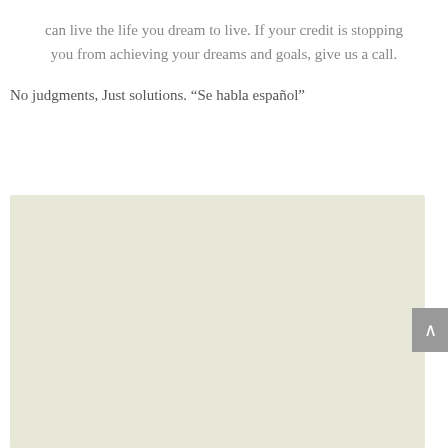can live the life you dream to live. If your credit is stopping you from achieving your dreams and goals, give us a call.
No judgments, Just solutions. “Se habla español”
Meet Dale
Hi, I’m Dale, founder of Best Credit RX in Fayetteville, Arkansas.